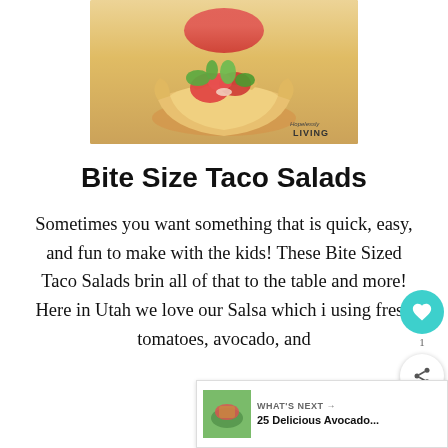[Figure (photo): A taco salad served in a baked tortilla bowl, filled with fresh tomatoes, avocado, and greens, placed on a wooden surface. Watermark reads 'Hopelessly LIVING'.]
Bite Size Taco Salads
Sometimes you want something that is quick, easy, and fun to make with the kids! These Bite Sized Taco Salads brin all of that to the table and more! Here in Utah we love our Salsa which is using fresh tomatoes, avocado, and